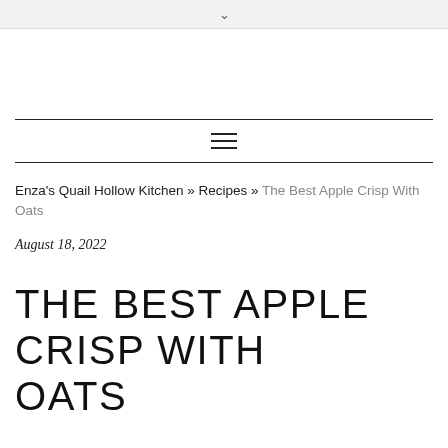∨
≡
Enza's Quail Hollow Kitchen » Recipes » The Best Apple Crisp With Oats
August 18, 2022
THE BEST APPLE CRISP WITH OATS